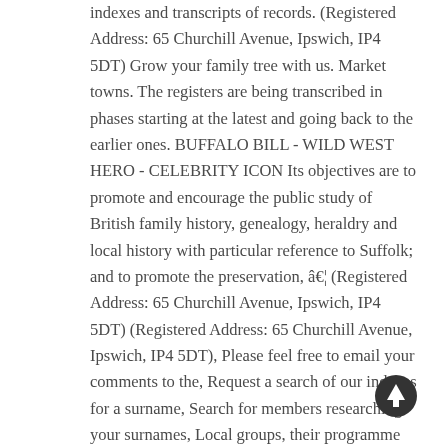indexes and transcripts of records. (Registered Address: 65 Churchill Avenue, Ipswich, IP4 5DT) Grow your family tree with us. Market towns. The registers are being transcribed in phases starting at the latest and going back to the earlier ones. BUFFALO BILL - WILD WEST HERO - CELEBRITY ICON Its objectives are to promote and encourage the public study of British family history, genealogy, heraldry and local history with particular reference to Suffolk; and to promote the preservation, â€¦ (Registered Address: 65 Churchill Avenue, Ipswich, IP4 5DT) (Registered Address: 65 Churchill Avenue, Ipswich, IP4 5DT), Please feel free to email your comments to the, Request a search of our indexes for a surname, Search for members researching your surnames, Local groups, their programme of talks and visits, Fairs attended by society representatives, Society Events including Zoom presentations, organises talks on topics related
[Figure (other): Upward arrow icon (circle with up arrow) in dark color, positioned at bottom right]